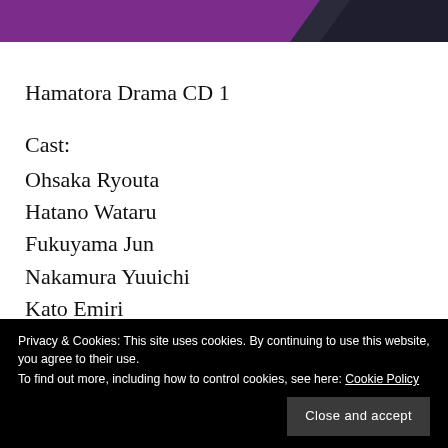[Figure (illustration): Purple and dark navy banner at the top of the page]
Hamatora Drama CD 1
Cast:
Ohsaka Ryouta
Hatano Wataru
Fukuyama Jun
Nakamura Yuuichi
Kato Emiri
Yasuno Kiyono
Privacy & Cookies: This site uses cookies. By continuing to use this website, you agree to their use. To find out more, including how to control cookies, see here: Cookie Policy